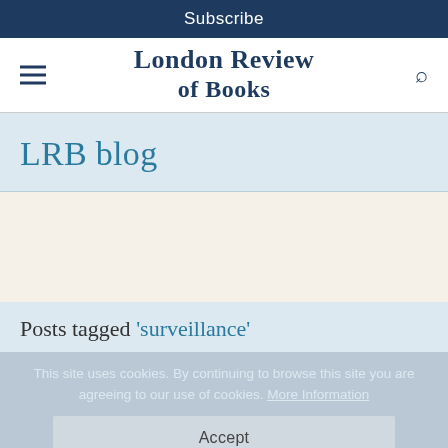Subscribe
London Review of Books
LRB blog
Posts tagged 'surveillance'
This site uses cookies. By continuing to browse this site you are agreeing to our use of cookies. More Information
Accept
24 OCTOBER 2015